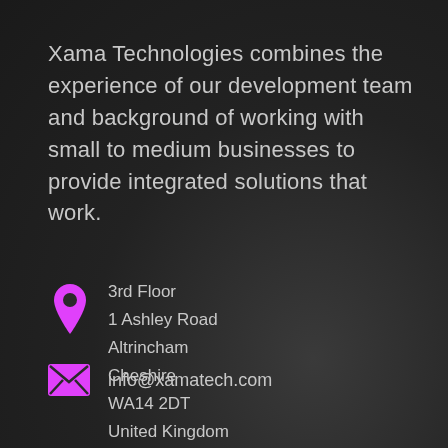Xama Technologies combines the experience of our development team and background of working with small to medium businesses to provide integrated solutions that work.
3rd Floor
1 Ashley Road
Altrincham
Cheshire
WA14 2DT
United Kingdom
info@xamatech.com